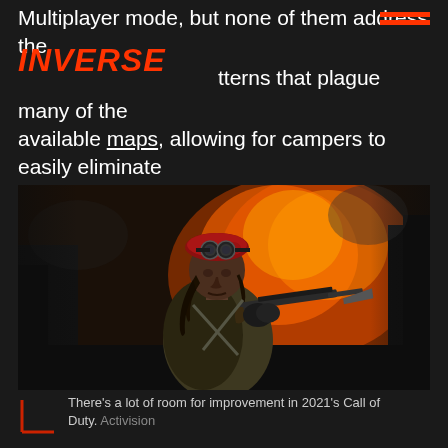Multiplayer mode, but none of them address the predictable spawning patterns that plague many of the available maps, allowing for campers to easily eliminate opponents as soon as they come back for another life.
[Figure (photo): A soldier character from Call of Duty wearing a red beret with goggles, military jacket, holding a rifle, with fire and smoke in the background]
There's a lot of room for improvement in 2021's Call of Duty. Activision